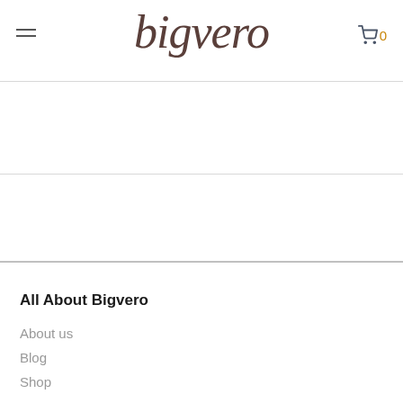[Figure (logo): Bigvero website header with hamburger menu icon on left, cursive italic 'bigvero' logo in center, and shopping cart icon with '0' count on right]
All About Bigvero
About us
Blog
Shop